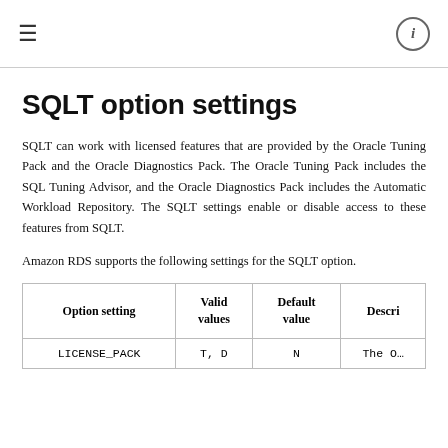☰   ⓘ
SQLT option settings
SQLT can work with licensed features that are provided by the Oracle Tuning Pack and the Oracle Diagnostics Pack. The Oracle Tuning Pack includes the SQL Tuning Advisor, and the Oracle Diagnostics Pack includes the Automatic Workload Repository. The SQLT settings enable or disable access to these features from SQLT.
Amazon RDS supports the following settings for the SQLT option.
| Option setting | Valid values | Default value | Descri… |
| --- | --- | --- | --- |
| LICENSE_PACK | T, D | N | The O… |